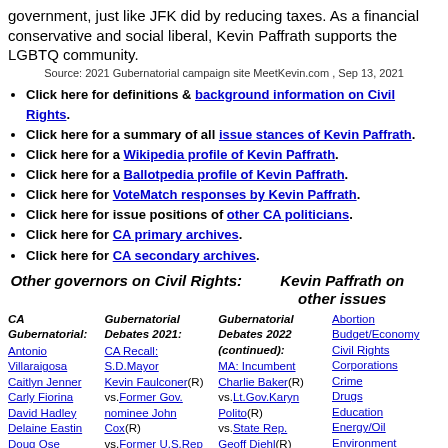government, just like JFK did by reducing taxes. As a financial conservative and social liberal, Kevin Paffrath supports the LGBTQ community.
Source: 2021 Gubernatorial campaign site MeetKevin.com , Sep 13, 2021
Click here for definitions & background information on Civil Rights.
Click here for a summary of all issue stances of Kevin Paffrath.
Click here for a Wikipedia profile of Kevin Paffrath.
Click here for a Ballotpedia profile of Kevin Paffrath.
Click here for VoteMatch responses by Kevin Paffrath.
Click here for issue positions of other CA politicians.
Click here for CA primary archives.
Click here for CA secondary archives.
Other governors on Civil Rights:
Kevin Paffrath on other issues
CA Gubernatorial: Antonio Villaraigosa, Caitlyn Jenner, Carly Fiorina, David Hadley, Delaine Eastin, Doug Ose, Eric Garcetti, Eric Swalwell, Gavin Newsom, ...
Gubernatorial Debates 2021: CA Recall: S.D.Mayor Kevin Faulconer(R) vs.Former Gov. nominee John Cox(R) vs.Former U.S.Rep Doug Ose(R) vs.Laura Smith(R) vs.Former Olympian Caitlyn ...
Gubernatorial Debates 2022 (continued): MA: Incumbent Charlie Baker(R) vs.Lt.Gov.Karyn Polito(R) vs.State Rep. Geoff Diehl(R) vs.Harvard Professor Danielle Allen(D) vs.State ...
Abortion, Budget/Economy, Civil Rights, Corporations, Crime, Drugs, Education, Energy/Oil, Environment, Families/Children, Foreign Policy, Free Trade, Govt. Reform...